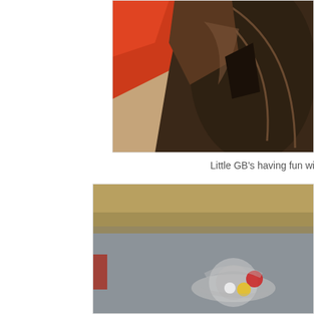[Figure (photo): Close-up photo of a toy or plastic object with red and dark brown parts on a tan/beige carpet floor, seen from above at an angle]
Little GB's having fun with new presents from Gigi a...
[Figure (photo): Blurry photo of what appears to be a toy car or spinning top with red and yellow colors on a grey/blue surface, motion blur visible]